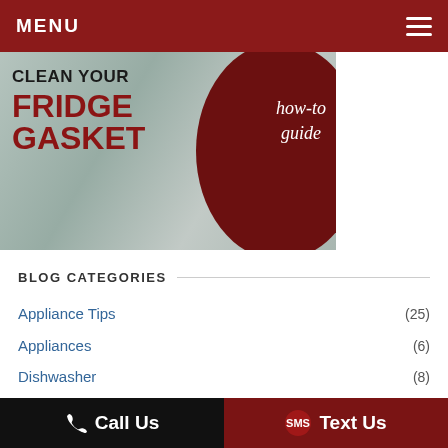MENU
[Figure (illustration): Banner image promoting 'Clean Your Fridge Gasket how-to guide' with dark red circle graphic and kitchen background]
BLOG CATEGORIES
Appliance Tips (25)
Appliances (6)
Dishwasher (8)
Dryers (9)
Holiday (7)
Call Us    Text Us